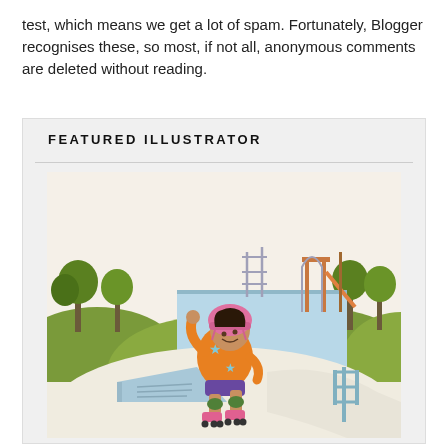test, which means we get a lot of spam. Fortunately, Blogger recognises these, so most, if not all, anonymous comments are deleted without reading.
FEATURED ILLUSTRATOR
[Figure (illustration): Illustration of a young girl with dark skin wearing a pink helmet, orange hoodie with star pattern, purple shorts, and pink roller skates. She is skating in a skate park with ramps, trees, green hills, and playground equipment in the background. The skate park surfaces are light beige/cream colored with blue ramp elements.]